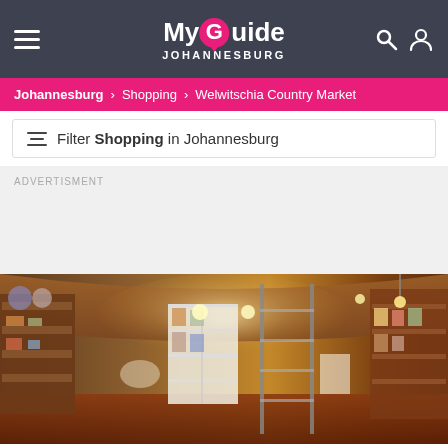MyGuide Johannesburg
Johannesburg > Shopping > Welwitschia Country Market
Filter Shopping in Johannesburg
ADVERTISMENT
[Figure (photo): Panoramic interior view of Welwitschia Country Market showing shelves filled with crafts, collectibles, and various market goods under a wooden ceiling with warm lighting.]